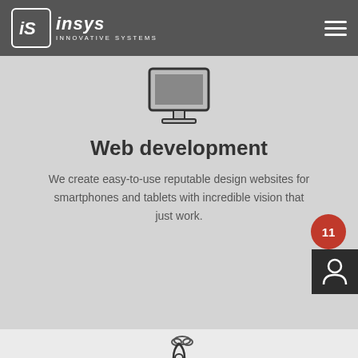[Figure (logo): INSYS Innovative Systems logo with stylized iS in a rounded square, white on dark background]
[Figure (illustration): Desktop monitor icon outline]
Web development
We create easy-to-use reputable design websites for smartphones and tablets with incredible vision that just work.
[Figure (illustration): Rocket with cloud icon outline for Digital Marketing section]
Digital Marketing